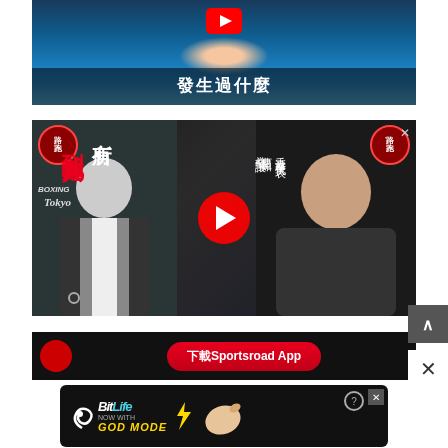[Figure (screenshot): YouTube video thumbnail showing a swimmer in water with Chinese text '發生過什麼' (What happened) and a YouTube play button icon at top]
[Figure (screenshot): YouTube video thumbnail for a boxing/sports channel with Chinese text '其他地方找到', '所有', '拳擊讓', '香港拳擊代表 曹星如', featuring two people in sports jackets and a red YouTube play button]
[Figure (screenshot): Bottom video strip with Sportsroad App button in red and circular logo]
[Figure (screenshot): BitLife advertisement banner: 'BitLife NOW WITH GOD MODE' with hand/lightning graphics on dark background]